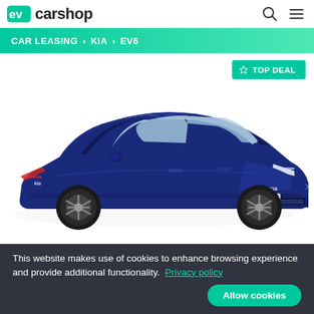ev carshop
CAR LEASING > KIA > EV6
[Figure (photo): Blue Kia EV6 GT-line electric car shown from a front three-quarter angle with a TOP DEAL badge in the top right corner.]
This website makes use of cookies to enhance browsing experience and provide additional functionality. Privacy policy
Allow cookies